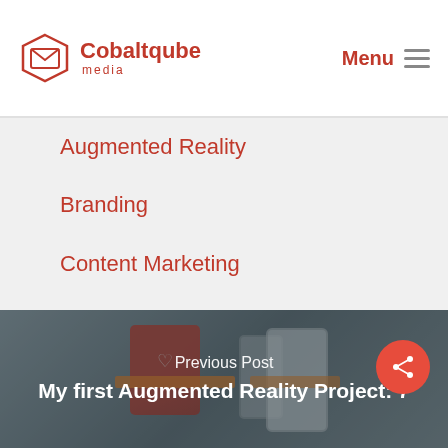Cobaltqube media — Menu
Augmented Reality
Branding
Content Marketing
Marketing Strategy
Transmedia Storytelling
[Figure (photo): Background photo of a hand holding a smartphone with a red card/AR overlay, product packaging visible in background]
Previous Post
My first Augmented Reality Project: 7